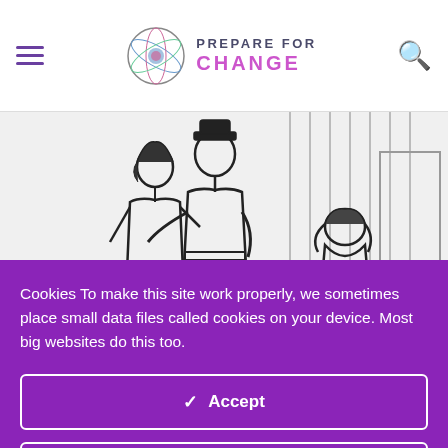Prepare For Change — navigation header with hamburger menu, logo, and search icon
[Figure (illustration): Black and white line drawing illustration showing two people in a room — one figure standing and leaning over another person, and a second figure hunched over sitting on what appears to be a bed or furniture, with vertical lines suggesting curtains or a window in the background.]
Cookies To make this site work properly, we sometimes place small data files called cookies on your device. Most big websites do this too.
✓ Accept
Change Settings ⚙